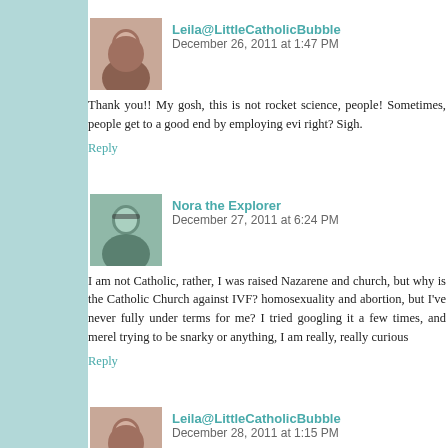Leila@LittleCatholicBubble  December 26, 2011 at 1:47 PM
Thank you!! My gosh, this is not rocket science, people! Sometimes, people get to a good end by employing evil means, right? Sigh.
Reply
Nora the Explorer  December 27, 2011 at 6:24 PM
I am not Catholic, rather, I was raised Nazarene and church, but why is the Catholic Church against IVF? homosexuality and abortion, but I've never fully under terms for me? I tried googling it a few times, and merel trying to be snarky or anything, I am really, really curious
Reply
Leila@LittleCatholicBubble  December 28, 2011 at 1:15 PM
Nora, I am sure JoAnna can give you lots of info, but in th
http://www.catholicinsight.com/online/church/vatican
Essentially, it is immoral to artificially separate the two